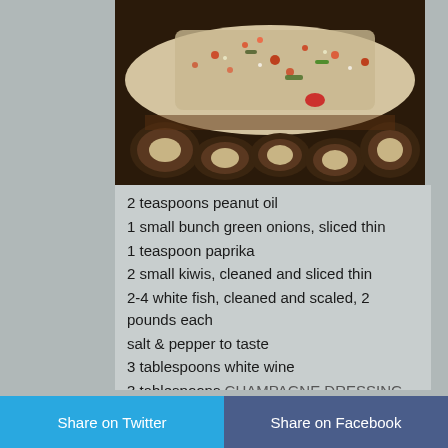[Figure (photo): Close-up photo of seasoned white fish with colorful toppings including green onions and spices, with sliced vegetables visible]
2 teaspoons peanut oil
1 small bunch green onions, sliced thin
1 teaspoon paprika
2 small kiwis, cleaned and sliced thin
2-4 white fish, cleaned and scaled, 2 pounds each
salt & pepper to taste
3 tablespoons white wine
3 tablespoons CHAMPAGNE DRESSING (or substitute fish or chicken stock)
2 tablespoons butter, melted
1 lemon, sliced
Share on Twitter   Share on Facebook